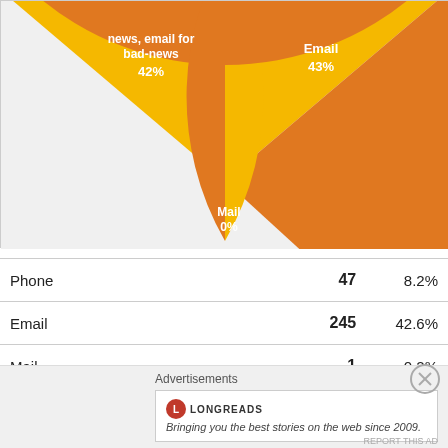[Figure (pie-chart): Communication preference for bad news]
|  |  |  |
| --- | --- | --- |
| Phone | 47 | 8.2% |
| Email | 245 | 42.6% |
| Mail | 1 | 0.2% |
Advertisements
LONGREADS — Bringing you the best stories on the web since 2009.